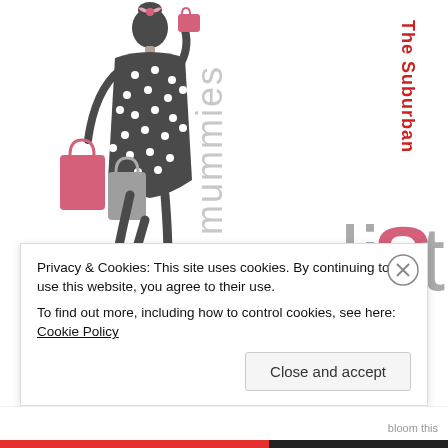[Figure (logo): Mummies logo: illustrated woman in polka-dot dress carrying pink and grey shopping bags, with vertical text 'mummies' in light grey beside her]
[Figure (logo): The Suburban list logo with 'liSt' in grey/pink and 'The Suburban' in red, displayed vertically on the right side]
Privacy & Cookies: This site uses cookies. By continuing to use this website, you agree to their use.
To find out more, including how to control cookies, see here: Cookie Policy